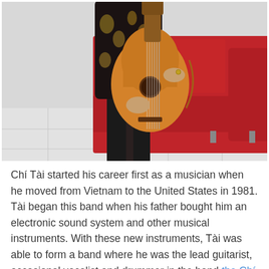[Figure (photo): A person wearing a black floral-patterned shirt holding an acoustic guitar, standing in front of a red sofa/couch. The floor appears to be light gray tile.]
Chí Tài started his career first as a musician when he moved from Vietnam to the United States in 1981. Tài began this band when his father bought him an electronic sound system and other musical instruments. With these new instruments, Tài was able to form a band where he was the lead guitarist, occasional vocalist and drummer in the band the Chí Tài brothers. The Chí Tài